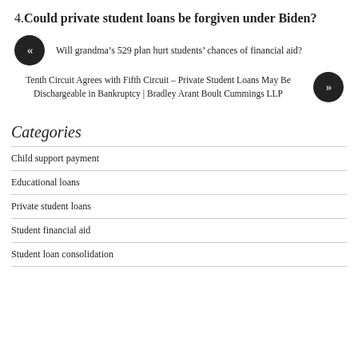4. Could private student loans be forgiven under Biden?
« Will grandma's 529 plan hurt students' chances of financial aid?
Tenth Circuit Agrees with Fifth Circuit – Private Student Loans May Be Dischargeable in Bankruptcy | Bradley Arant Boult Cummings LLP »
Categories
Child support payment
Educational loans
Private student loans
Student financial aid
Student loan consolidation